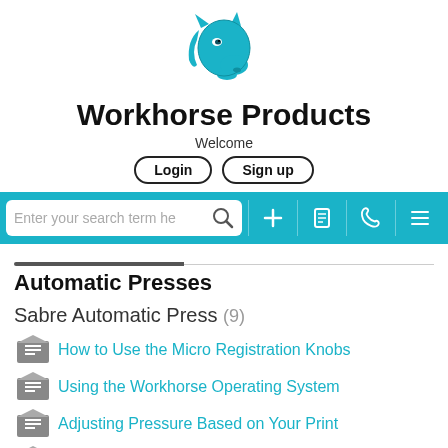[Figure (logo): Workhorse Products horse head logo in teal/cyan color]
Workhorse Products
Welcome
Login   Sign up
[Figure (screenshot): Teal search bar with text input field 'Enter your search term here', search icon, plus icon, document icon, phone icon, and hamburger menu icon]
Automatic Presses
Sabre Automatic Press (9)
How to Use the Micro Registration Knobs
Using the Workhorse Operating System
Adjusting Pressure Based on Your Print
Using the Step Back Mode